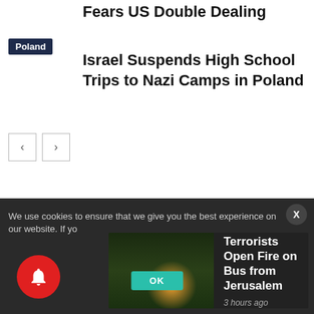Fears US Double Dealing
Poland
Israel Suspends High School Trips to Nazi Camps in Poland
We use cookies to ensure that we give you the best experience on our website. If yo
[Figure (screenshot): Thumbnail image of a bus news story with dark background]
Terrorists Open Fire on Bus from Jerusalem
3 hours ago